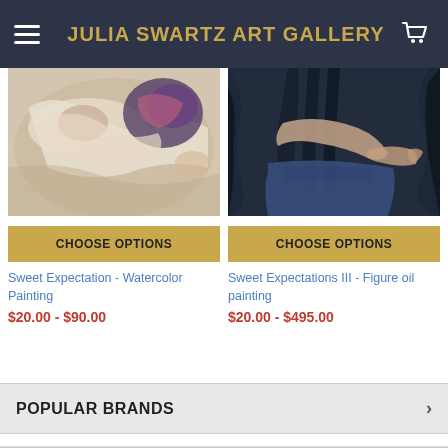JULIA SWARTZ ART GALLERY
[Figure (photo): Watercolor painting of a reclining figure with soft warm tones]
[Figure (photo): Dark figure oil painting with blue/dark tones showing a person's torso and arm]
CHOOSE OPTIONS
CHOOSE OPTIONS
Sweet Expectation - Watercolor Painting
$20.00 - $90.00
Sweet Expectations III - Figure oil painting
$20.00 - $495.00
POPULAR BRANDS
RECENT POSTS